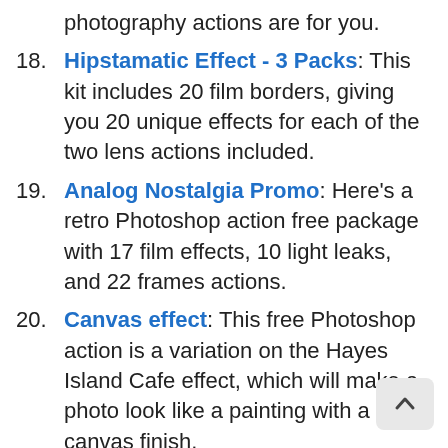photography actions are for you.
18. Hipstamatic Effect - 3 Packs: This kit includes 20 film borders, giving you 20 unique effects for each of the two lens actions included.
19. Analog Nostalgia Promo: Here's a retro Photoshop action free package with 17 film effects, 10 light leaks, and 22 frames actions.
20. Canvas effect: This free Photoshop action is a variation on the Hayes Island Cafe effect, which will make a photo look like a painting with a canvas finish.
21. Night Action: If you do concerts or festival photography, this Photoshop action for free is what you need for your pictures.